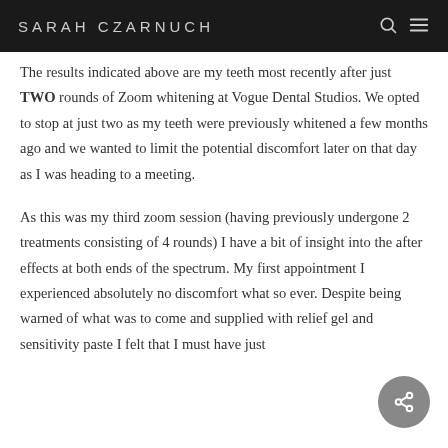SARAH CZARNUCH
The results indicated above are my teeth most recently after just TWO rounds of Zoom whitening at Vogue Dental Studios. We opted to stop at just two as my teeth were previously whitened a few months ago and we wanted to limit the potential discomfort later on that day as I was heading to a meeting.
As this was my third zoom session (having previously undergone 2 treatments consisting of 4 rounds) I have a bit of insight into the after effects at both ends of the spectrum. My first appointment I experienced absolutely no discomfort what so ever. Despite being warned of what was to come and supplied with relief gel and sensitivity paste I felt that I must have just